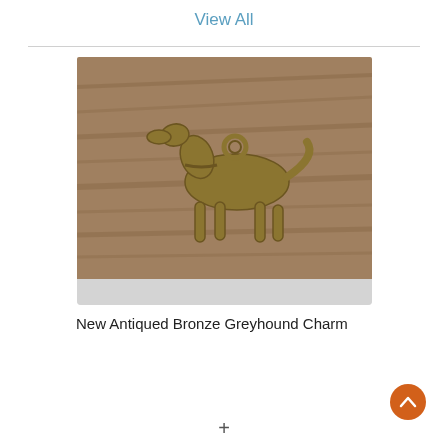View All
[Figure (photo): Antiqued bronze greyhound dog charm on a wood-grain surface background. The charm shows a standing greyhound dog with a loop for attaching to jewelry.]
New Antiqued Bronze Greyhound Charm